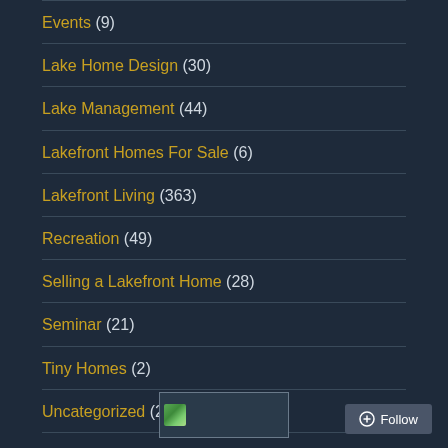Events (9)
Lake Home Design (30)
Lake Management (44)
Lakefront Homes For Sale (6)
Lakefront Living (363)
Recreation (49)
Selling a Lakefront Home (28)
Seminar (21)
Tiny Homes (2)
Uncategorized (22)
[Figure (logo): WordPress or website logo/icon in a bordered box]
Follow